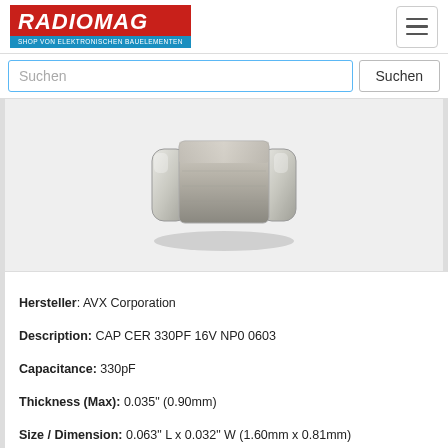[Figure (logo): RadioMag logo - red box with white italic text RADIOMAG and blue subtitle SHOP VON ELEKTRONISCHEN BAUELEMENTEN]
[Figure (photo): Close-up photo of a ceramic capacitor (MLCC) chip component, rectangular shape with metallic silver end caps and grey ceramic body]
Hersteller: AVX Corporation
Description: CAP CER 330PF 16V NP0 0603
Capacitance: 330pF
Thickness (Max): 0.035" (0.90mm)
Size / Dimension: 0.063" L x 0.032" W (1.60mm x 0.81mm)
Package / Case: 0603 (1608 Metric)
Ratings: AEC-Q200
Applications: Automotive
Operating Temperature: -55°C ~ 125°C
Mounting Type: Surface Mount, MLCC
Temperature Coefficient: C0G, NP0
Voltage - Rated: 16V